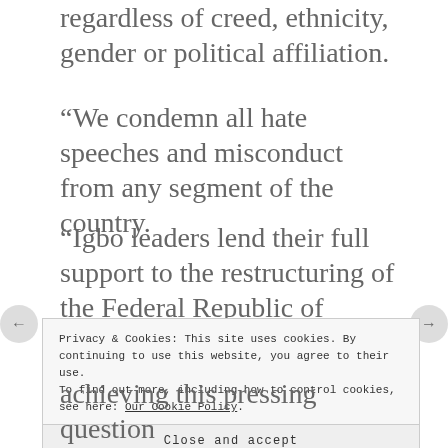regardless of creed, ethnicity, gender or political affiliation.
“We condemn all hate speeches and misconduct from any segment of the country.
“Igbo leaders lend their full support to the restructuring of the Federal Republic of Nigeria on the platform of fairness and equity.
Privacy & Cookies: This site uses cookies. By continuing to use this website, you agree to their use.
To find out more, including how to control cookies, see here: Our Cookie Policy
Close and accept
achieving this pressing question